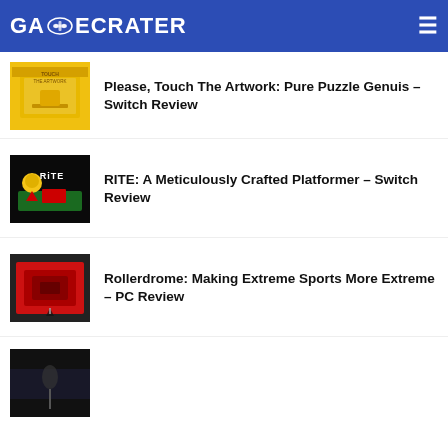GAMECRATER
[Figure (screenshot): Thumbnail for Please Touch The Artwork game]
Please, Touch The Artwork: Pure Puzzle Genuis – Switch Review
[Figure (screenshot): Thumbnail for RITE game showing RiTE logo on dark background]
RITE: A Meticulously Crafted Platformer – Switch Review
[Figure (screenshot): Thumbnail for Rollerdrome game showing red arena]
Rollerdrome: Making Extreme Sports More Extreme – PC Review
[Figure (screenshot): Thumbnail for a fourth article, dark image]